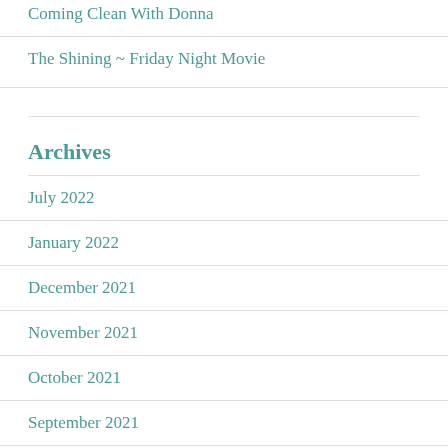Coming Clean With Donna
The Shining ~ Friday Night Movie
Archives
July 2022
January 2022
December 2021
November 2021
October 2021
September 2021